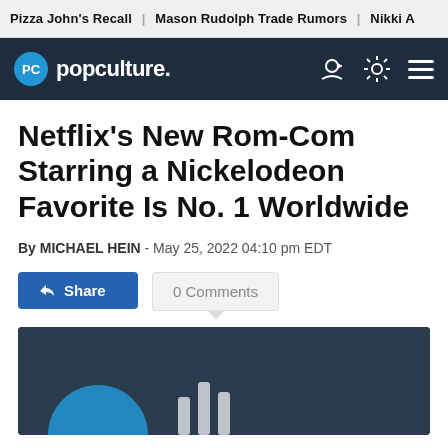Pizza John's Recall | Mason Rudolph Trade Rumors | Nikki A
popculture.
Netflix's New Rom-Com Starring a Nickelodeon Favorite Is No. 1 Worldwide
By MICHAEL HEIN - May 25, 2022 04:10 pm EDT
Share   0 Comments
[Figure (screenshot): Dark video thumbnail area at the bottom of the page]